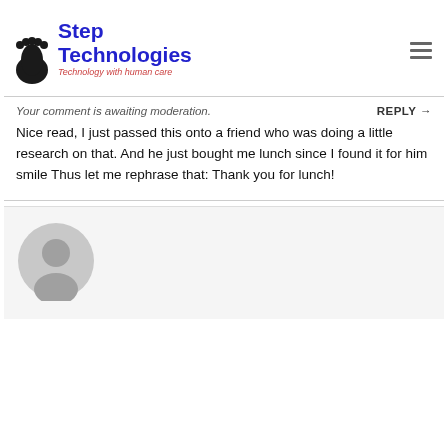[Figure (logo): Step Technologies logo with footprint icon, blue bold text 'Step Technologies', and red italic tagline 'Technology with human care']
Your comment is awaiting moderation.
REPLY →
Nice read, I just passed this onto a friend who was doing a little research on that. And he just bought me lunch since I found it for him smile Thus let me rephrase that: Thank you for lunch!
[Figure (illustration): Grey default user avatar icon (silhouette of a person in a circle)]